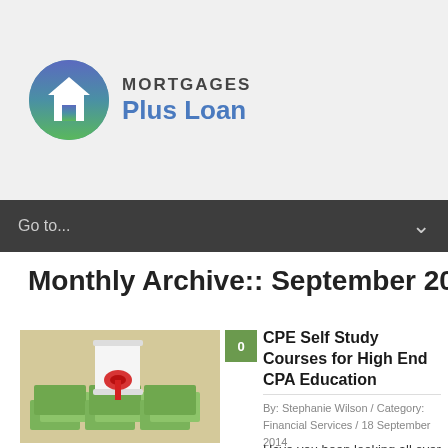[Figure (logo): Mortgages Plus Loan logo with circular house icon and text]
Go to...
Monthly Archive:: September 2014
[Figure (photo): Photo of a diploma/scroll tied with red ribbon resting on stacks of US dollar bills]
CPE Self Study Courses for High End CPA Education
By: Stephanie Wilson / Category: Financial Services / 18 September 2014
Have you been looking all over the Internet, hoping to find a quality, reputable organization through which to take your continuing education self study